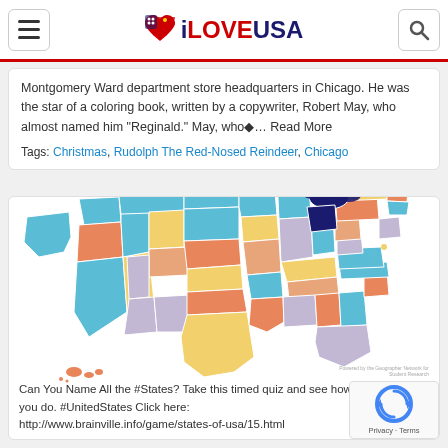iLOVEUSA
Montgomery Ward department store headquarters in Chicago. He was the star of a coloring book, written by a copywriter, Robert May, who almost named him "Reginald." May, who◆… Read More
Tags: Christmas, Rudolph The Red-Nosed Reindeer, Chicago
[Figure (map): Colorful map of the United States with each state filled in a different color (teal, yellow, orange, salmon, lavender, dark blue, etc.)]
Can You Name All the #States? Take this timed quiz and see how you do. #UnitedStates Click here: http://www.brainville.info/game/states-of-usa/15.html